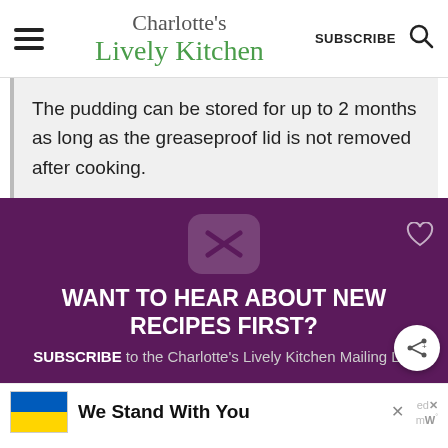Charlotte's Lively Kitchen — SUBSCRIBE
The pudding can be stored for up to 2 months as long as the greaseproof lid is not removed after cooking.
[Figure (infographic): Purple promotional banner with envelope icon and text: WANT TO HEAR ABOUT NEW RECIPES FIRST? SUBSCRIBE to the Charlotte's Lively Kitchen Mailing List]
[Figure (infographic): Advertisement bar: Ukraine flag, 'We Stand With You' text, close button, edX and other logos]